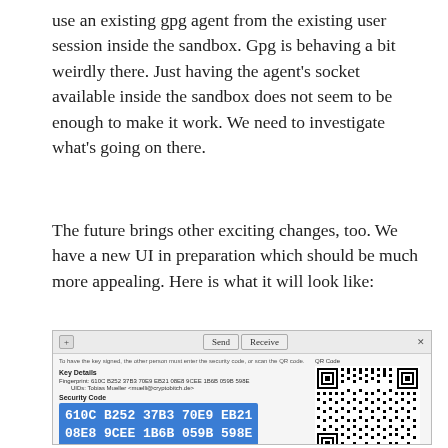use an existing gpg agent from the existing user session inside the sandbox. Gpg is behaving a bit weirdly there. Just having the agent's socket available inside the sandbox does not seem to be enough to make it work. We need to investigate what's going on there.
The future brings other exciting changes, too. We have a new UI in preparation which should be much more appealing. Here is what it will look like:
[Figure (screenshot): Screenshot of a new UI dialog with Send/Receive tabs, Key Details section showing fingerprint and UID, Security Code section displaying '610C B252 37B3 70E9 EB21 08E8 9CEE 1B6B 059B 598E' highlighted in blue, and a QR Code on the right side.]